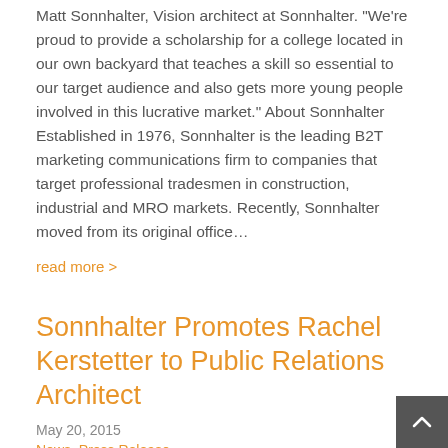Matt Sonnhalter, Vision architect at Sonnhalter. "We're proud to provide a scholarship for a college located in our own backyard that teaches a skill so essential to our target audience and also gets more young people involved in this lucrative market." About Sonnhalter Established in 1976, Sonnhalter is the leading B2T marketing communications firm to companies that target professional tradesmen in construction, industrial and MRO markets. Recently, Sonnhalter moved from its original office…
read more >
Sonnhalter Promotes Rachel Kerstetter to Public Relations Architect
May 20, 2015
News, Press Release
CLEVELAND – May 2015 – Sonnhalter, a marketing communications firm to the professional tradesman in the